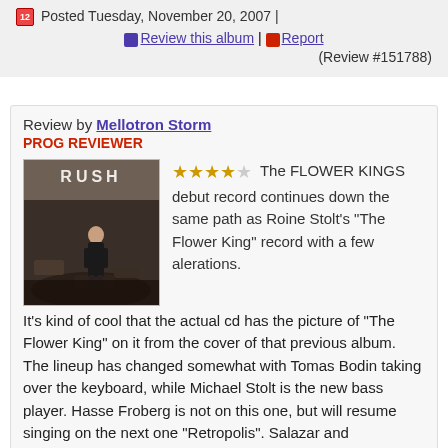Posted Tuesday, November 20, 2007 | Review this album | Report (Review #151788)
Review by Mellotron Storm
PROG REVIEWER
[Figure (photo): Album cover art showing a black and white photo of a woman, with 'RUSH' text at the top]
The FLOWER KINGS debut record continues down the same path as Roine Stolt's "The Flower King" record with a few alerations. It's kind of cool that the actual cd has the picture of "The Flower King" on it from the cover of that previous album. The lineup has changed somewhat with Tomas Bodin taking over the keyboard, while Michael Stolt is the new bass player. Hasse Froberg is not on this one, but will resume singing on the next one "Retropolis". Salazar and Bruniusson shared the drum duties on